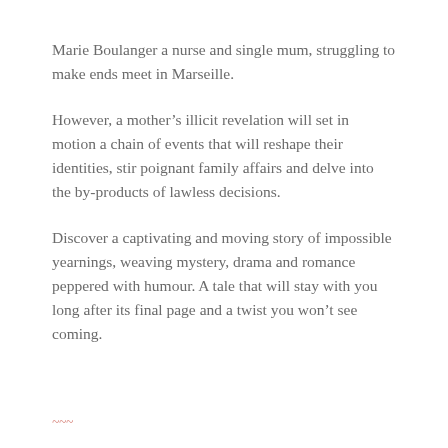Marie Boulanger a nurse and single mum, struggling to make ends meet in Marseille.
However, a mother's illicit revelation will set in motion a chain of events that will reshape their identities, stir poignant family affairs and delve into the by-products of lawless decisions.
Discover a captivating and moving story of impossible yearnings, weaving mystery, drama and romance peppered with humour. A tale that will stay with you long after its final page and a twist you won't see coming.